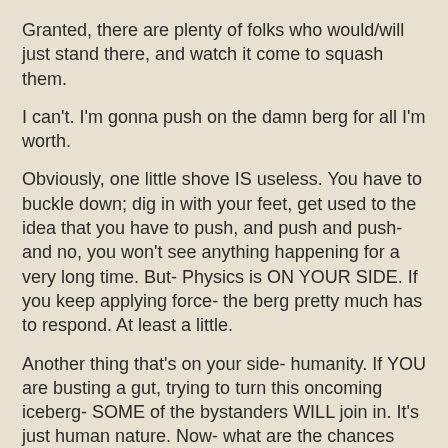Granted, there are plenty of folks who would/will just stand there, and watch it come to squash them.
I can't. I'm gonna push on the damn berg for all I'm worth.
Obviously, one little shove IS useless. You have to buckle down; dig in with your feet, get used to the idea that you have to push, and push and push- and no, you won't see anything happening for a very long time. But- Physics is ON YOUR SIDE. If you keep applying force- the berg pretty much has to respond. At least a little.
Another thing that's on your side- humanity. If YOU are busting a gut, trying to turn this oncoming iceberg- SOME of the bystanders WILL join in. It's just human nature. Now- what are the chances you can deflect the berg- if there are 100 people pushing? Better. But most of them won't help- until they see someone already committed. Really committed- and not quitting. More human nature. And sure, there will always be the jackasses who stand by and jeer, and tell you you're crazy.